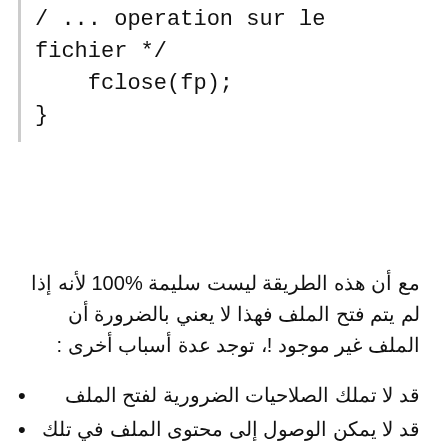/ ... operation sur le fichier */
    fclose(fp);
}
مع أن هذه الطريقة ليست سليمة 100% لأنه إذا لم يتم فتح الملف فهذا لا يعني بالضرورة أن الملف غير موجود !، توجد عدة أسباب أخرى :
قد لا تملك الصلاحيات الضرورية لفتح الملف
قد لا يمكن الوصول إلى محتوى الملف في تلك اللحظة (ملف مُشفر مثلا)
قد لا يملك النظام مساحة الذاكرة الكافية لفتح الملف